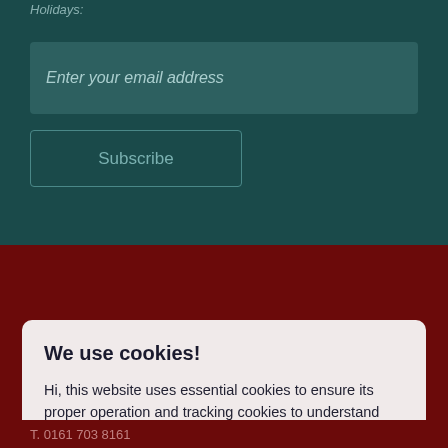Holidays:
Enter your email address
Subscribe
We use cookies!
Hi, this website uses essential cookies to ensure its proper operation and tracking cookies to understand how you interact with it. The latter will be set only after consent. Let me choose
Accept all
Reject all
T. 0161 703 8161